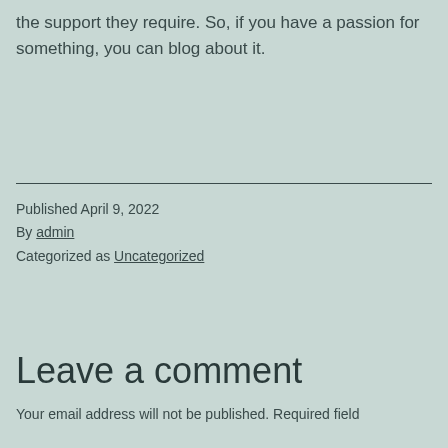the support they require. So, if you have a passion for something, you can blog about it.
Published April 9, 2022
By admin
Categorized as Uncategorized
Leave a comment
Your email address will not be published. Required field